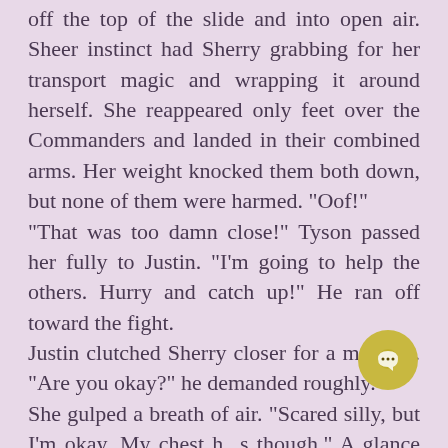off the top of the slide and into open air. Sheer instinct had Sherry grabbing for her transport magic and wrapping it around herself. She reappeared only feet over the Commanders and landed in their combined arms. Her weight knocked them both down, but none of them were harmed. "Oof!"
"That was too damn close!" Tyson passed her fully to Justin. "I'm going to help the others. Hurry and catch up!" He ran off toward the fight.
Justin clutched Sherry closer for a moment. "Are you okay?" he demanded roughly.
She gulped a breath of air. "Scared silly, but I'm okay. My chest h ts though." A glance down told he The blast had hit her hard enough to
[Figure (illustration): Gold/yellow circular chat bubble icon overlapping the text at the bottom right corner of the page]